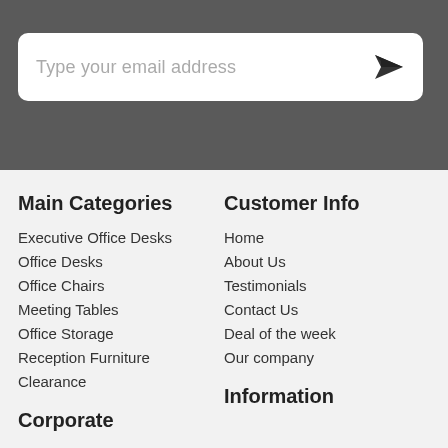[Figure (screenshot): Email subscription input field with placeholder text and send button on dark grey background]
Main Categories
Executive Office Desks
Office Desks
Office Chairs
Meeting Tables
Office Storage
Reception Furniture
Clearance
Customer Info
Home
About Us
Testimonials
Contact Us
Deal of the week
Our company
Corporate
Information